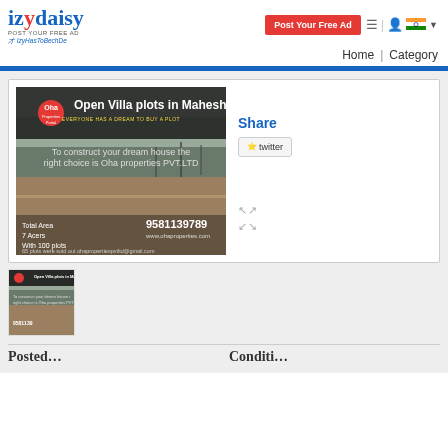[Figure (logo): izydaisy logo with tagline POST YOUR FREE AD and IzyHasToBechDe]
Post Your Free Ad
Home | Category
[Figure (photo): Property advertisement image for Open Villa plots in Maheshwaram by Oha Properties PVT.LTD. Shows construction land with text: To construct your dream house the right choice is Oha properties PVT.LTD. Total Area 7 Acers With 100 plots. Phone: 9581139789. www.ohaproperties.com. 65 plots were sold out. ohapropertiespvtltd@gmail.com]
Share
twitter
[Figure (photo): Thumbnail of Open Villa plots in Maheshwaram property advertisement]
Posted…
Conditi…